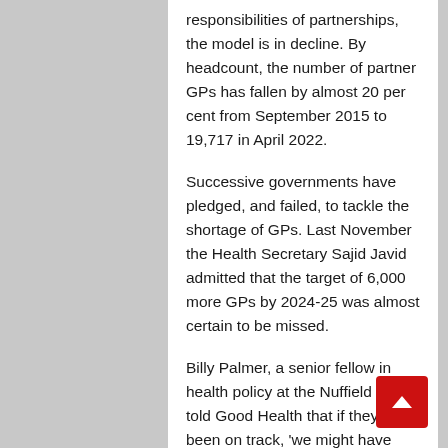responsibilities of partnerships, the model is in decline. By headcount, the number of partner GPs has fallen by almost 20 per cent from September 2015 to 19,717 in April 2022.
Successive governments have pledged, and failed, to tackle the shortage of GPs. Last November the Health Secretary Sajid Javid admitted that the target of 6,000 more GPs by 2024-25 was almost certain to be missed.
Billy Palmer, a senior fellow in health policy at the Nuffield Trust, told Good Health that if they had been on track, 'we might have expected to have about 3,000 more GPs above and for the...